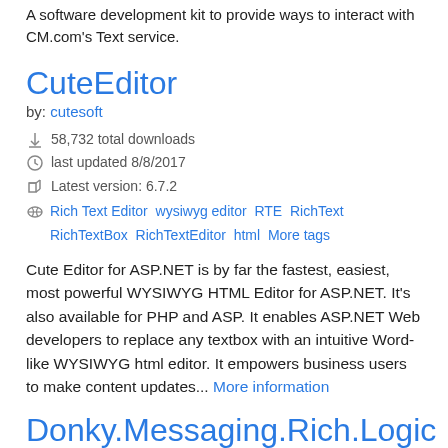A software development kit to provide ways to interact with CM.com's Text service.
CuteEditor
by: cutesoft
58,732 total downloads
last updated 8/8/2017
Latest version: 6.7.2
Rich Text Editor wysiwyg editor RTE RichText RichTextBox RichTextEditor html More tags
Cute Editor for ASP.NET is by far the fastest, easiest, most powerful WYSIWYG HTML Editor for ASP.NET. It's also available for PHP and ASP. It enables ASP.NET Web developers to replace any textbox with an intuitive Word-like WYSIWYG html editor. It empowers business users to make content updates... More information
Donky.Messaging.Rich.Logic
by: donky
4,751 total downloads